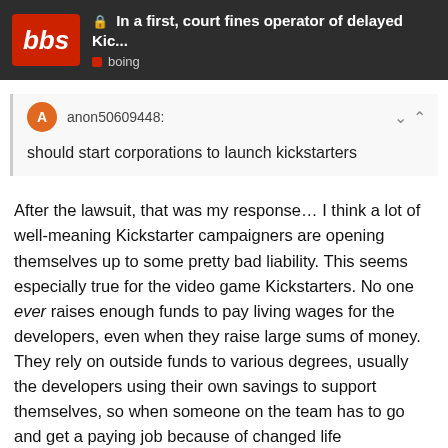In a first, court fines operator of delayed Kic... | boing
anon50609448:
should start corporations to launch kickstarters
After the lawsuit, that was my response… I think a lot of well-meaning Kickstarter campaigners are opening themselves up to some pretty bad liability. This seems especially true for the video game Kickstarters. No one ever raises enough funds to pay living wages for the developers, even when they raise large sums of money. They rely on outside funds to various degrees, usually the developers using their own savings to support themselves, so when someone on the team has to go and get a paying job because of changed life circumstance, they don't have the funds to actually hire a replacement. A number of campaigns have been cut short because of this, and mostly the backers are pretty understanding. But there's sometimes talk of lawsuits, and the team sending full refunds to them, even in one case where technically t
18 / 24